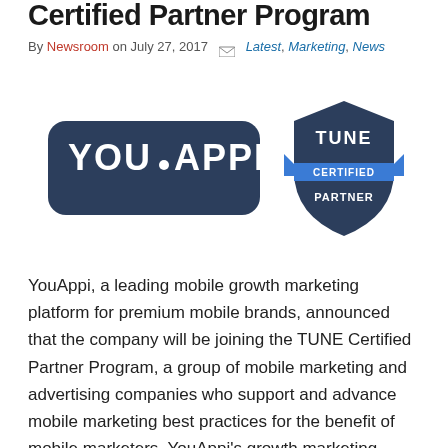Certified Partner Program
By Newsroom on July 27, 2017  Latest, Marketing, News
[Figure (logo): YouAppi logo (white text on dark navy rounded rectangle) alongside TUNE Certified Partner badge (dark navy shield with blue ribbon banner)]
YouAppi, a leading mobile growth marketing platform for premium mobile brands, announced that the company will be joining the TUNE Certified Partner Program, a group of mobile marketing and advertising companies who support and advance mobile marketing best practices for the benefit of mobile marketers. YouAppi's growth marketing platform combines the power of machine learning with […]